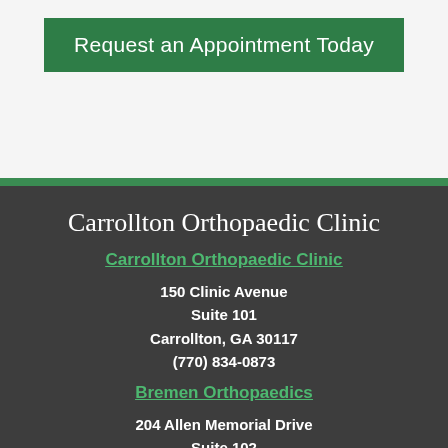Request an Appointment Today
Carrollton Orthopaedic Clinic
Carrollton Orthopaedic Clinic
150 Clinic Avenue
Suite 101
Carrollton, GA 30117
(770) 834-0873
Bremen Orthopaedics
204 Allen Memorial Drive
Suite 102
Bremen, GA 30110